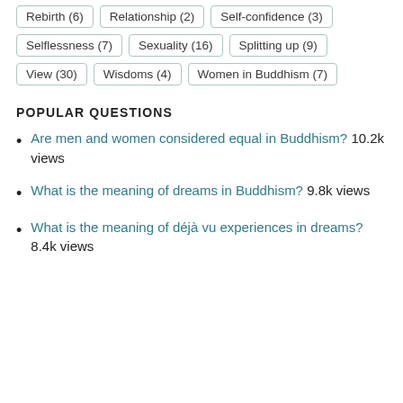Rebirth (6)
Relationship (2)
Self-confidence (3)
Selflessness (7)
Sexuality (16)
Splitting up (9)
View (30)
Wisdoms (4)
Women in Buddhism (7)
POPULAR QUESTIONS
Are men and women considered equal in Buddhism? 10.2k views
What is the meaning of dreams in Buddhism? 9.8k views
What is the meaning of déjà vu experiences in dreams? 8.4k views